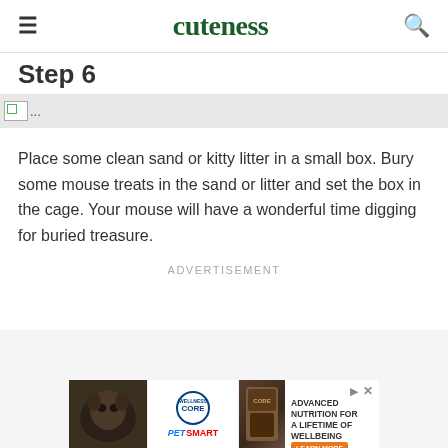cuteness
Step 6
[Figure (photo): Broken image placeholder with ellipsis]
Place some clean sand or kitty litter in a small box. Bury some mouse treats in the sand or litter and set the box in the cage. Your mouse will have a wonderful time digging for buried treasure.
Advertisement
[Figure (photo): Wellness Core PetSmart advertisement banner with dog photo and 'Advanced Nutrition For A Lifetime Of Wellbeing' text]